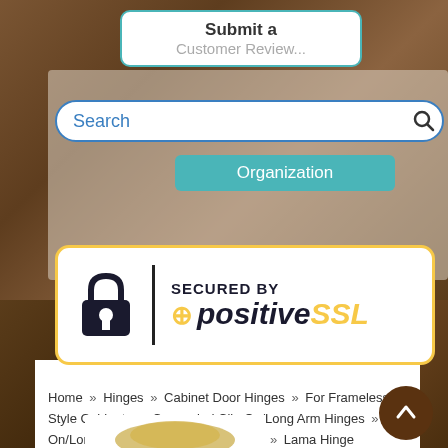[Figure (screenshot): Website screenshot showing a 'Submit a Customer Review...' button, a search bar with 'Search' placeholder, an 'Organization' teal button, a 'SECURED BY +positiveSSL' security badge with gold border, breadcrumb navigation, and a product image area at the bottom]
Submit a Customer Review...
Search
Organization
[Figure (logo): SECURED BY +positiveSSL badge with lock icon, vertical divider, and gold-colored SSL text]
Home » Hinges » Cabinet Door Hinges » For Frameless Style Cabinets » Concealed Clip On/Long Arm Hinges » Clip On/Long Arm Hinge - Standard Close » Lama Hinge Frameless Mounting Plate »